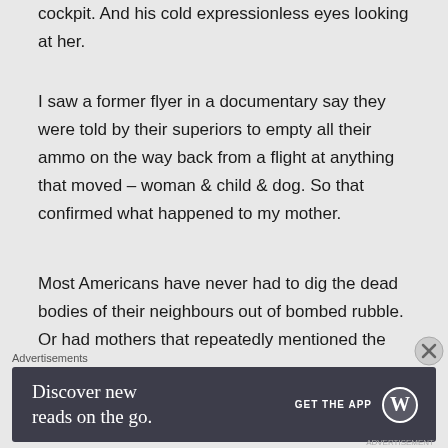cockpit. And his cold expressionless eyes looking at her.
I saw a former flyer in a documentary say they were told by their superiors to empty all their ammo on the way back from a flight at anything that moved – woman & child & dog. So that confirmed what happened to my mother.
Most Americans have never had to dig the dead bodies of their neighbours out of bombed rubble. Or had mothers that repeatedly mentioned the smell of the
Advertisements
[Figure (infographic): Advertisement banner for WordPress app: 'Discover new reads on the go. GET THE APP' with WordPress logo]